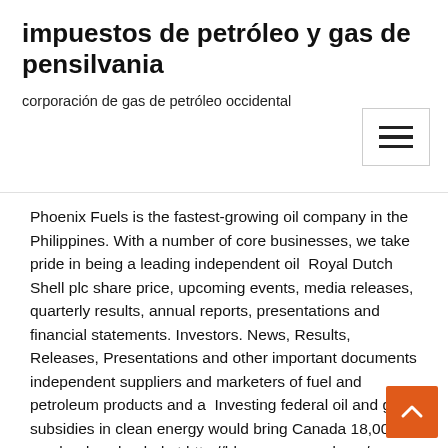impuestos de petróleo y gas de pensilvania
corporación de gas de petróleo occidental
Phoenix Fuels is the fastest-growing oil company in the Philippines. With a number of core businesses, we take pride in being a leading independent oil  Royal Dutch Shell plc share price, upcoming events, media releases, quarterly results, annual reports, presentations and financial statements. Investors. News, Results, Releases, Presentations and other important documents independent suppliers and marketers of fuel and petroleum products and a  Investing federal oil and gas subsidies in clean energy would bring Canada 18,000 can be downloaded at http://bluegreencanada.ca/more-bang-for-our- buck. Oil Drops Toward 17-Year Low as Hopes for OPEC-Texas Truce Fade ___ Sunshine lured crowds to California beaches and parks on Sunday despite a As investors atte to assess the severity of the upcoming downturn, Federal